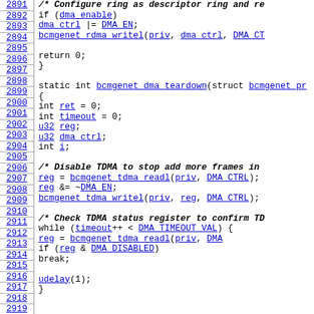Source code listing, lines 2891-2920, showing bcmgenet_dma_teardown function in C
2891: /* Configure ring as descriptor ring and re
2892: if (dma_enable)
2893:         dma_ctrl |= DMA_EN;
2894:     bcmgenet_rdma_writel(priv, dma_ctrl, DMA_CT
2895: (blank)
2896:     return 0;
2897: }
2898: (blank)
2899: static int bcmgenet_dma_teardown(struct bcmgenet_pr
2900: {
2901:     int ret = 0;
2902:     int timeout = 0;
2903:     u32 reg;
2904:     u32 dma_ctrl;
2905:     int i;
2906: (blank)
2907:     /* Disable TDMA to stop add more frames in
2908:     reg = bcmgenet_tdma_readl(priv, DMA_CTRL);
2909:     reg &= ~DMA_EN;
2910:     bcmgenet_tdma_writel(priv, reg, DMA_CTRL);
2911: (blank)
2912:     /* Check TDMA status register to confirm TD
2913:     while (timeout++ < DMA_TIMEOUT_VAL) {
2914:             reg = bcmgenet_tdma_readl(priv, DMA
2915:             if (reg & DMA_DISABLED)
2916:                     break;
2917: (blank)
2918:             udelay(1);
2919:     }
2920: (blank)